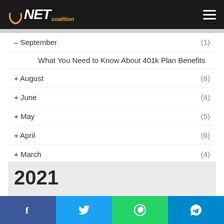NET coalition
– September (1)
What You Need to Know About 401k Plan Benefits
+ August (8)
+ June (4)
+ May (5)
+ April (6)
+ March (4)
+ February (1)
+ January (3)
2021
2020
2019